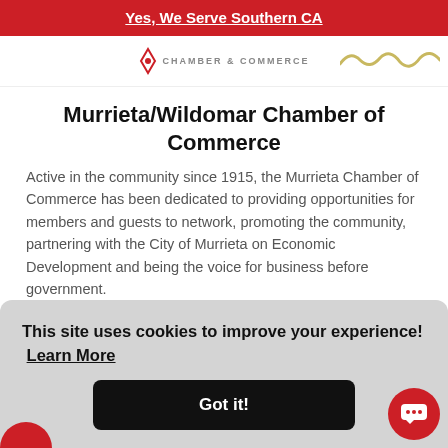Yes, We Serve Southern CA
[Figure (logo): Murrieta/Wildomar Chamber of Commerce logo with text and decorative squiggle]
Murrieta/Wildomar Chamber of Commerce
Active in the community since 1915, the Murrieta Chamber of Commerce has been dedicated to providing opportunities for members and guests to network, promoting the community, partnering with the City of Murrieta on Economic Development and being the voice for business before government.
This site uses cookies to improve your experience!  Learn More
Got it!